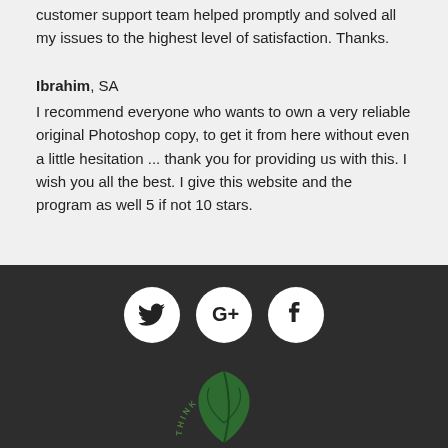customer support team helped promptly and solved all my issues to the highest level of satisfaction. Thanks.
Ibrahim, SA
I recommend everyone who wants to own a very reliable original Photoshop copy, to get it from here without even a little hesitation ... thank you for providing us with this. I wish you all the best. I give this website and the program as well 5 if not 10 stars.
[Figure (logo): Social media icons: Twitter, Google+, Facebook in white circles on dark background, and Think Green leaf logo below]